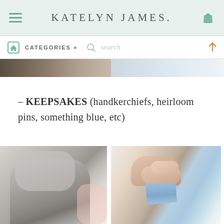KATELYN JAMES.
CATEGORIES +   search
[Figure (photo): Top photo strip showing partial wedding detail photos]
– KEEPSAKES (handkerchiefs, heirloom pins, something blue, etc)
[Figure (photo): Left: close-up of silver wedding shoe with designer label visible. Right: hand holding a light blue ribbon/garter against a wedding dress.]